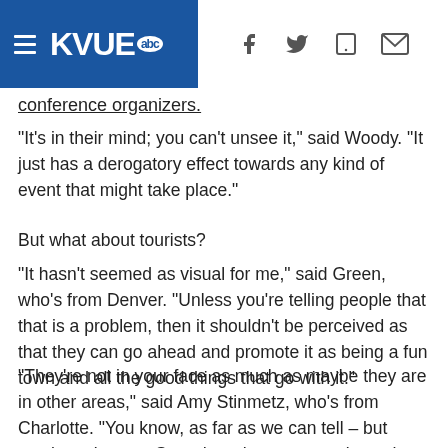KVUE abc
conference organizers.
"It's in their mind; you can't unsee it," said Woody. "It just has a derogatory effect towards any kind of event that might take place."
But what about tourists?
"It hasn't seemed as visual for me," said Green, who's from Denver. "Unless you're telling people that that is a problem, then it shouldn't be perceived as that they can go ahead and promote it as being a fun town and all the good things that go with it."
"They're not in your face as much as maybe they are in other areas," said Amy Stinmetz, who's from Charlotte. "You know, as far as we can tell – but maybe ask us on Saturday what our experience has been – but for all of today, I think we'd agree that's very much a non-issue."